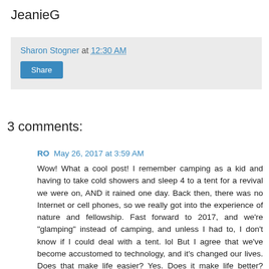JeanieG
Sharon Stogner at 12:30 AM
Share
3 comments:
RO  May 26, 2017 at 3:59 AM
Wow! What a cool post! I remember camping as a kid and having to take cold showers and sleep 4 to a tent for a revival we were on, AND it rained one day. Back then, there was no Internet or cell phones, so we really got into the experience of nature and fellowship. Fast forward to 2017, and we're "glamping" instead of camping, and unless I had to, I don't know if I could deal with a tent. lol But I agree that we've become accustomed to technology, and it's changed our lives. Does that make life easier? Yes. Does it make life better? That's debatable. Happy Friday!